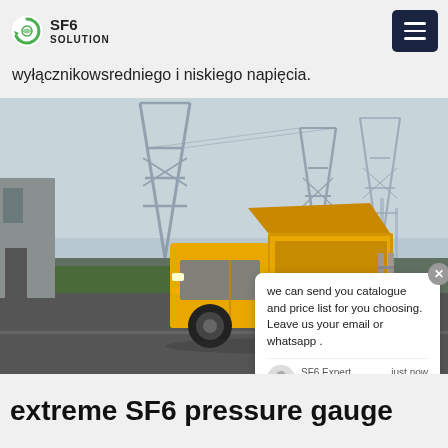SF6 SOLUTION
wyłącznikowsredniego i niskiego napięcia.
[Figure (photo): Yellow SF6 service truck parked in front of a high-voltage electrical substation with steel lattice towers. A chat popup overlay is visible on the right side of the image with text: 'we can send you catalogue and price list for you choosing. Leave us your email or whatsapp.' Signed SF6 Expert, just now.]
extreme SF6 pressure gauge